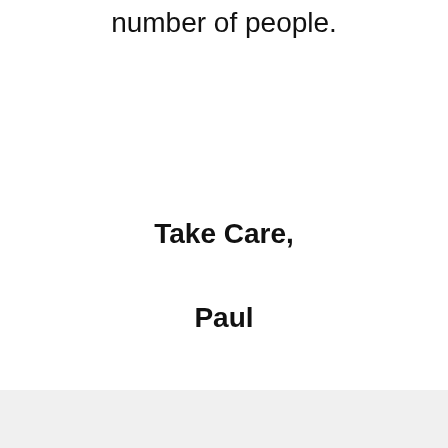number of people.
Take Care,
Paul